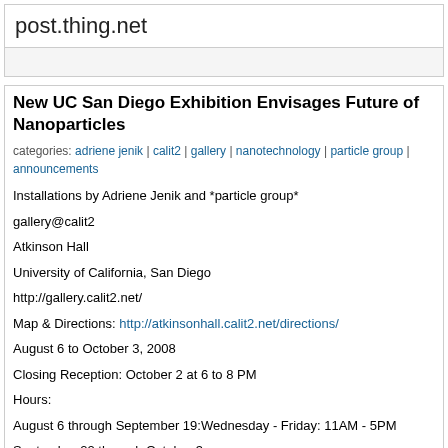post.thing.net
New UC San Diego Exhibition Envisages Future of Nanoparticles
categories: adriene jenik | calit2 | gallery | nanotechnology | particle group | announcements
Installations by Adriene Jenik and *particle group*
gallery@calit2
Atkinson Hall
University of California, San Diego
http://gallery.calit2.net/
Map & Directions: http://atkinsonhall.calit2.net/directions/
August 6 to October 3, 2008
Closing Reception: October 2 at 6 to 8 PM
Hours:
August 6 through September 19:Wednesday - Friday: 11AM - 5PM
September 22 through October 3:
Monday - Friday: 11AM - 5PM